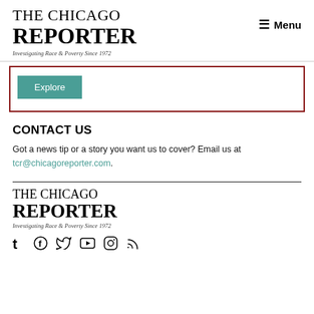THE CHICAGO REPORTER — Investigating Race & Poverty Since 1972 | Menu
[Figure (other): Red-bordered box with a teal Explore button inside]
CONTACT US
Got a news tip or a story you want us to cover? Email us at tcr@chicagoreporter.com.
[Figure (logo): The Chicago Reporter logo — Investigating Race & Poverty Since 1972]
[Figure (other): Social media icons: Tumblr, Facebook, Twitter, YouTube, Instagram, RSS]